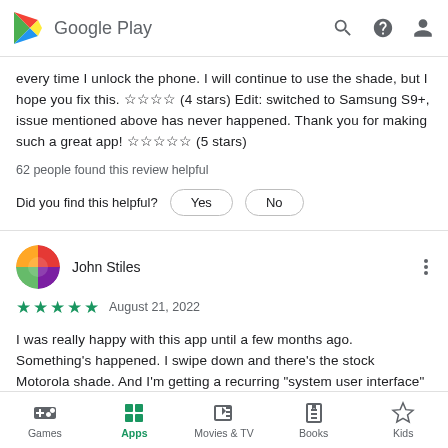Google Play
every time I unlock the phone. I will continue to use the shade, but I hope you fix this. ☆☆☆☆ (4 stars) Edit: switched to Samsung S9+, issue mentioned above has never happened. Thank you for making such a great app! ☆☆☆☆☆ (5 stars)
62 people found this review helpful
Did you find this helpful? Yes  No
John Stiles
★★★★★ August 21, 2022
I was really happy with this app until a few months ago. Something's happened. I swipe down and there's the stock Motorola shade. And I'm getting a recurring "system user interface" to...
Games  Apps  Movies & TV  Books  Kids